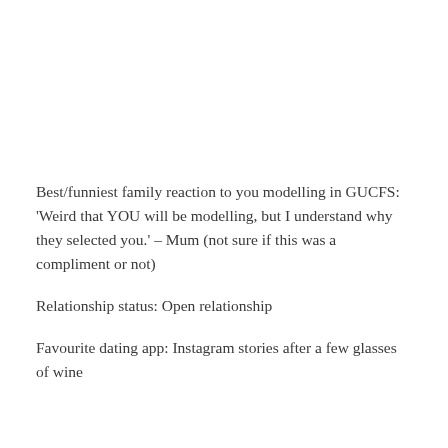Best/funniest family reaction to you modelling in GUCFS: 'Weird that YOU will be modelling, but I understand why they selected you.' – Mum (not sure if this was a compliment or not)
Relationship status: Open relationship
Favourite dating app: Instagram stories after a few glasses of wine